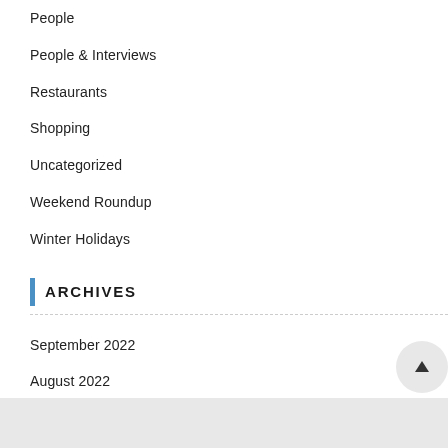People
People & Interviews
Restaurants
Shopping
Uncategorized
Weekend Roundup
Winter Holidays
ARCHIVES
September 2022
August 2022
July 2022
June 2022